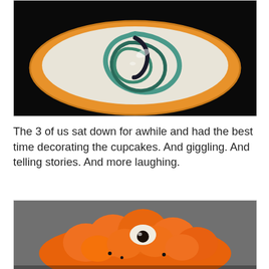[Figure (photo): A yellow/orange bowl with white and teal/dark blue swirled frosting or cream, on a black background, viewed from above.]
The 3 of us sat down for awhile and had the best time decorating the cupcakes. And giggling. And telling stories. And more laughing.
[Figure (photo): Close-up of an orange frosted cupcake decorated with a candy eyeball, with spiky orange frosting resembling a monster.]